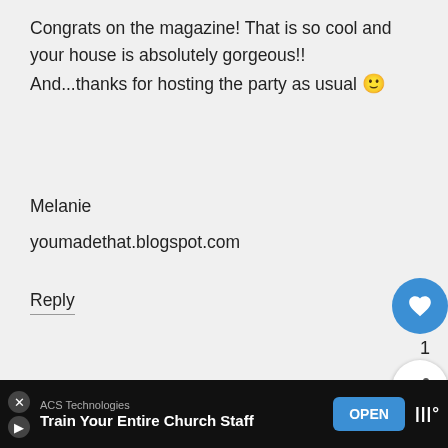Congrats on the magazine! That is so cool and your house is absolutely gorgeous!! And...thanks for hosting the party as usual 🙂
Melanie
youmadethat.blogspot.com
Reply
HOUSEDRESSINGBLOG.BLOGSPOT.COM SAYS
JUNE 28 AT 3:15 AM
I like yours better than what you copied! Thanks for
ACS Technologies
Train Your Entire Church Staff
OPEN
WHAT'S NEXT → How to Make a Dollar Tree...